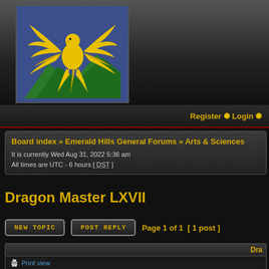[Figure (logo): Emerald Hills phoenix logo: yellow phoenix bird with wings spread on blue background with green mountain shapes at bottom]
Register  Login
Board index » Emerald Hills General Forums » Arts & Sciences
It is currently Wed Aug 31, 2022 5:36 am
All times are UTC - 6 hours [ DST ]
Dragon Master LXVII
NEW TOPIC   POST REPLY   Page 1 of 1  [ 1 post ]
Dra
Print view
Dra